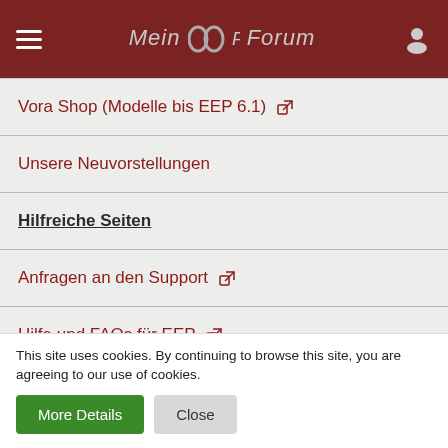Mein EEP Forum
Vora Shop (Modelle bis EEP 6.1) [external link]
Unsere Neuvorstellungen
Hilfreiche Seiten
Anfragen an den Support [external link]
Hilfe und FAQs für EEP [external link]
Updates für die EEP Versionen 12 - 16
Wie geht was im Forum
This site uses cookies. By continuing to browse this site, you are agreeing to our use of cookies.